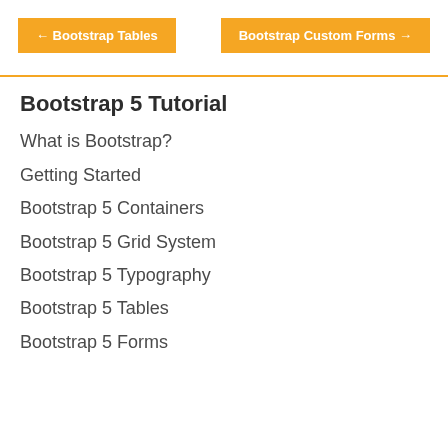← Bootstrap Tables   Bootstrap Custom Forms →
Bootstrap 5 Tutorial
What is Bootstrap?
Getting Started
Bootstrap 5 Containers
Bootstrap 5 Grid System
Bootstrap 5 Typography
Bootstrap 5 Tables
Bootstrap 5 Forms